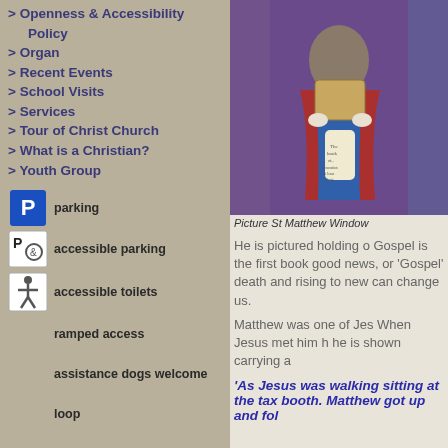> Openness & Accessibility Policy
> Organ
> Recent Events
> School Visits
> Services
> Tour of Christ Church
> What is a Christian?
> Youth Group
parking
accessible parking
accessible toilets
ramped access
assistance dogs welcome
loop
large print service books
[Figure (photo): Stained glass window depicting St Matthew holding a book/casket]
Picture St Matthew Window
He is pictured holding o Gospel is the first book good news, or 'Gospel' death and rising to new can change us.
Matthew was one of Jes When Jesus met him h he is shown carrying a
'As Jesus was walking sitting at the tax booth. Matthew got up and fol